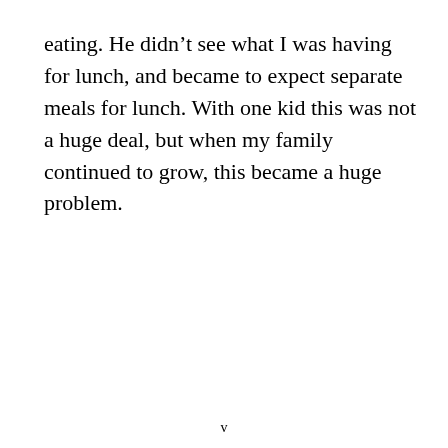eating. He didn't see what I was having for lunch, and became to expect separate meals for lunch. With one kid this was not a huge deal, but when my family continued to grow, this became a huge problem.
v